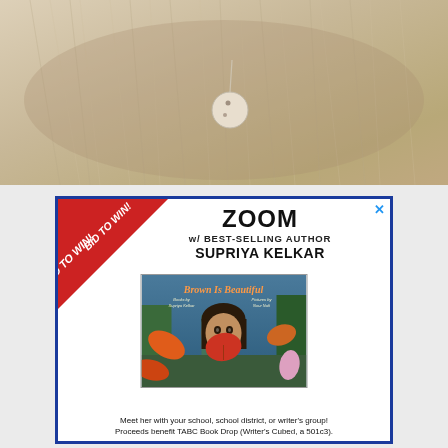[Figure (photo): Close-up photograph of a fluffy white/cream-colored animal (likely a cat or dog) with long fur. A small white circular medallion or tag is visible in the fur. Warm beige/tan tones throughout.]
[Figure (infographic): Advertisement with blue border. Red diagonal banner in top-left corner with 'BID TO WIN!' text. Main text reads 'ZOOM w/ BEST-SELLING AUTHOR SUPRIYA KELKAR'. Features book cover of 'Brown Is Beautiful' showing a young girl with dark hair holding a red leaf. Footer text: 'Meet her with your school, school district, or writer's group! Proceeds benefit TABC Book Drop (Writer's Cubed, a 501c3).']
Meet her with your school, school district, or writer's group! Proceeds benefit TABC Book Drop (Writer's Cubed, a 501c3).